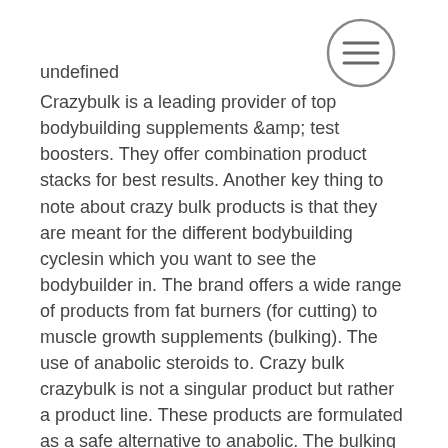[Figure (illustration): A circular menu/hamburger icon with three horizontal lines inside a circle, positioned in the upper right area of the page.]
undefined
Crazybulk is a leading provider of top bodybuilding supplements &amp; test boosters. They offer combination product stacks for best results. Another key thing to note about crazy bulk products is that they are meant for the different bodybuilding cyclesin which you want to see the bodybuilder in. The brand offers a wide range of products from fat burners (for cutting) to muscle growth supplements (bulking). The use of anabolic steroids to. Crazy bulk crazybulk is not a singular product but rather a product line. These products are formulated as a safe alternative to anabolic. The bulking stack comprises four supplements of crazybulk, including one bottle each for d-bal, testomax, deca duro &amp; trenorol. Crazybulk trenorol (trenbolone) natural alternative for cutting